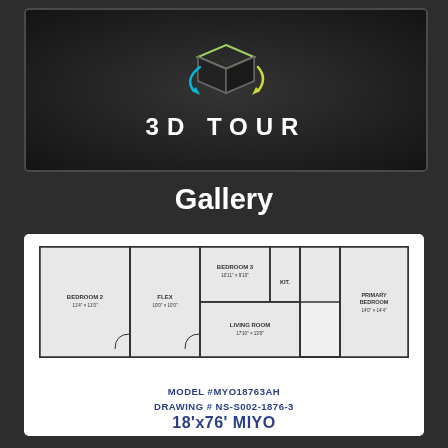[Figure (illustration): 3D Tour promotional card with a 3D cube icon with blue and yellow-green arrows, text '3D TOUR' in white on dark background]
Gallery
[Figure (engineering-diagram): Floor plan of 18'x76' MIYO model home showing Bedroom 2, Flex, Bedroom 3, Kit., Living Room, Primary Bedroom. Model #MYO18763AH, Drawing # NS-S002-1876-3]
MODEL #MYO18763AH
DRAWING # NS-S002-1876-3
18'x76' MIYO